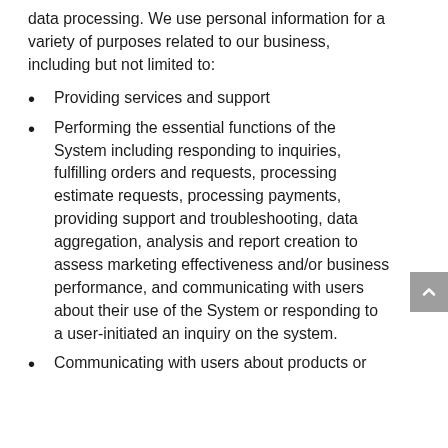data processing. We use personal information for a variety of purposes related to our business, including but not limited to:
Providing services and support
Performing the essential functions of the System including responding to inquiries, fulfilling orders and requests, processing estimate requests, processing payments, providing support and troubleshooting, data aggregation, analysis and report creation to assess marketing effectiveness and/or business performance, and communicating with users about their use of the System or responding to a user-initiated an inquiry on the system.
Communicating with users about products or